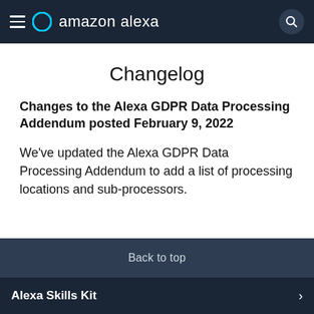amazon alexa
Changelog
Changes to the Alexa GDPR Data Processing Addendum posted February 9, 2022
We've updated the Alexa GDPR Data Processing Addendum to add a list of processing locations and sub-processors.
Back to top
Alexa Skills Kit